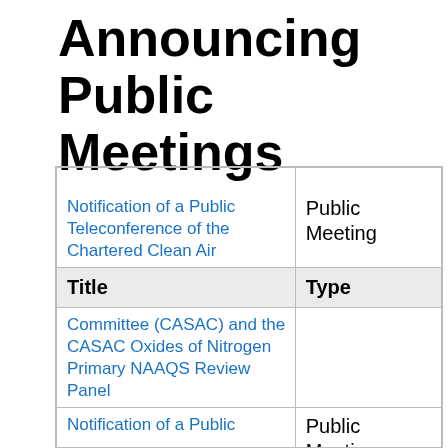Announcing Public Meetings
| Title | Type |
| --- | --- |
| Notification of a Public Teleconference of the Chartered Clean Air Committee (CASAC) and the CASAC Oxides of Nitrogen Primary NAAQS Review Panel | Public Meeting |
| Notification of a Public... | Public Meeting |